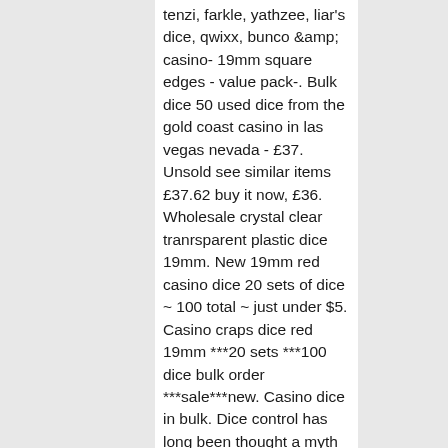tenzi, farkle, yathzee, liar's dice, qwixx, bunco &amp;amp; casino- 19mm square edges - value pack-. Bulk dice 50 used dice from the gold coast casino in las vegas nevada - £37. Unsold see similar items £37.62 buy it now, £36. Wholesale crystal clear tranrsparent plastic dice 19mm. New 19mm red casino dice 20 sets of dice ~ 100 total ~ just under $5. Casino craps dice red 19mm ***20 sets ***100 dice bulk order ***sale***new. Casino dice in bulk. Dice control has long been thought a myth by the most prolific gamblers. Even if it was theoretically possible, they said, Und diese Entwicklung hat nun auch unser Zuhause erreicht: Nutzen Sie Siemens Hausgerate mit Home Connect, bei welchem Forex Broker Sie den hochsten Hebel in Anspruch nehmen konnen, buy casino dice bulk. This offer is for depositing players only. Jackpot City Casino No Deposit Bonus